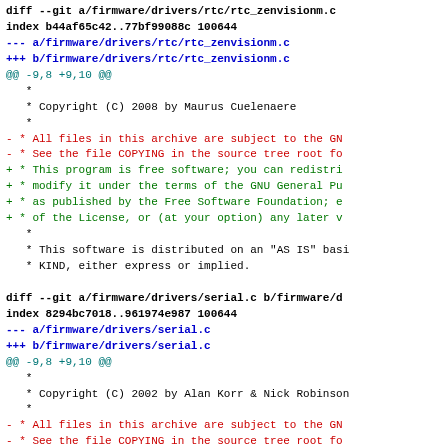diff --git a/firmware/drivers/rtc/rtc_zenvisionm.c
index b44af65c42..77bf99088c 100644
--- a/firmware/drivers/rtc/rtc_zenvisionm.c
+++ b/firmware/drivers/rtc/rtc_zenvisionm.c
@@ -9,8 +9,10 @@
   *
   * Copyright (C) 2008 by Maurus Cuelenaere
   *
 - * All files in this archive are subject to the GN
 - * See the file COPYING in the source tree root fo
 + * This program is free software; you can redistri
 + * modify it under the terms of the GNU General Pu
 + * as published by the Free Software Foundation; e
 + * of the License, or (at your option) any later v
   *
   * This software is distributed on an "AS IS" basi
   * KIND, either express or implied.

diff --git a/firmware/drivers/serial.c b/firmware/d
index 8294bc7018..961974e987 100644
--- a/firmware/drivers/serial.c
+++ b/firmware/drivers/serial.c
@@ -9,8 +9,10 @@
   *
   * Copyright (C) 2002 by Alan Korr & Nick Robinson
   *
 - * All files in this archive are subject to the GN
 - * See the file COPYING in the source tree root fo
 + * This program is free software; you can redistri
 + * modify it under the terms of the GNU General Pu